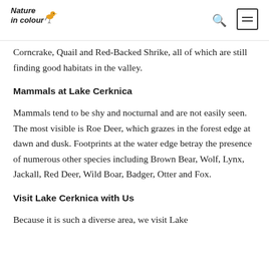Nature in colour
Corncrake, Quail and Red-Backed Shrike, all of which are still finding good habitats in the valley.
Mammals at Lake Cerknica
Mammals tend to be shy and nocturnal and are not easily seen. The most visible is Roe Deer, which grazes in the forest edge at dawn and dusk. Footprints at the water edge betray the presence of numerous other species including Brown Bear, Wolf, Lynx, Jackall, Red Deer, Wild Boar, Badger, Otter and Fox.
Visit Lake Cerknica with Us
Because it is such a diverse area, we visit Lake